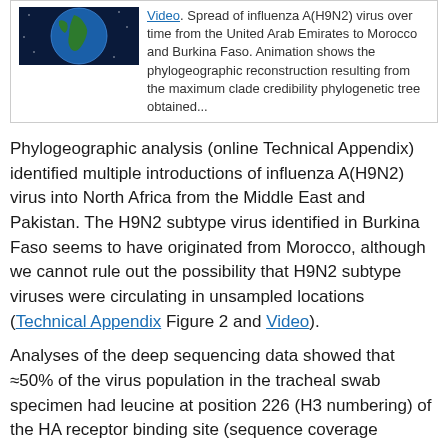[Figure (photo): Globe/earth image showing Africa region, used as thumbnail for a video about spread of influenza A(H9N2)]
Video. Spread of influenza A(H9N2) virus over time from the United Arab Emirates to Morocco and Burkina Faso. Animation shows the phylogeographic reconstruction resulting from the maximum clade credibility phylogenetic tree obtained...
Phylogeographic analysis (online Technical Appendix) identified multiple introductions of influenza A(H9N2) virus into North Africa from the Middle East and Pakistan. The H9N2 subtype virus identified in Burkina Faso seems to have originated from Morocco, although we cannot rule out the possibility that H9N2 subtype viruses were circulating in unsampled locations (Technical Appendix Figure 2 and Video).
Analyses of the deep sequencing data showed that ≈50% of the virus population in the tracheal swab specimen had leucine at position 226 (H3 numbering) of the HA receptor binding site (sequence coverage